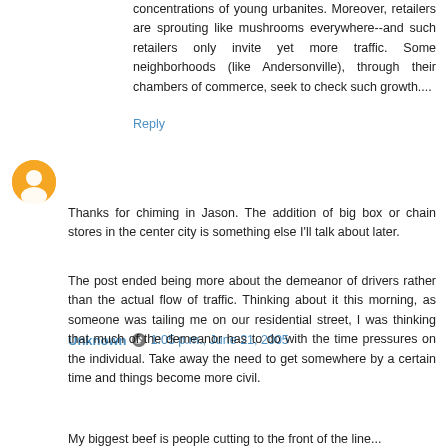concentrations of young urbanites. Moreover, retailers are sprouting like mushrooms everywhere--and such retailers only invite yet more traffic. Some neighborhoods (like Andersonville), through their chambers of commerce, seek to check such growth....
Reply
Unknown  1:05 p.m., June 21, 2005
Thanks for chiming in Jason. The addition of big box or chain stores in the center city is something else I'll talk about later.
The post ended being more about the demeanor of drivers rather than the actual flow of traffic. Thinking about it this morning, as someone was tailing me on our residential street, I was thinking that much of the demeanor has to do with the time pressures on the individual. Take away the need to get somewhere by a certain time and things become more civil.
My biggest beef is people cutting to the front of the line...